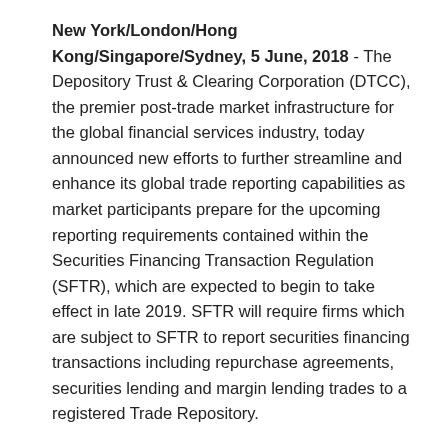New York/London/Hong Kong/Singapore/Sydney, 5 June, 2018 - The Depository Trust & Clearing Corporation (DTCC), the premier post-trade market infrastructure for the global financial services industry, today announced new efforts to further streamline and enhance its global trade reporting capabilities as market participants prepare for the upcoming reporting requirements contained within the Securities Financing Transaction Regulation (SFTR), which are expected to begin to take effect in late 2019. SFTR will require firms which are subject to SFTR to report securities financing transactions including repurchase agreements, securities lending and margin lending trades to a registered Trade Repository.
By collaborating with EquiLend & Trax and IHS Markit & Pirum, DTCC will be able to offer greater levels of straight through processing, with seamless links to mutual clients' existing technology, for a quick-to-implement and cost-effective SFTR reporting solution. Each of the firms will